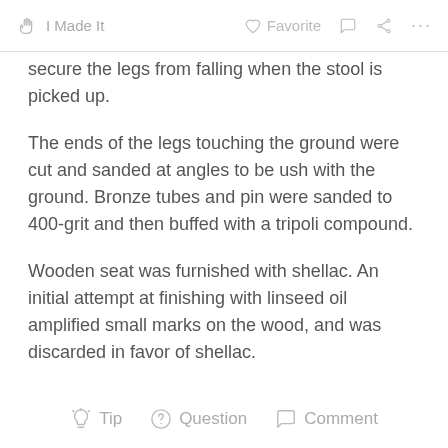I Made It   Favorite   Comment   Share   More
secure the legs from falling when the stool is picked up.
The ends of the legs touching the ground were cut and sanded at angles to be ush with the ground. Bronze tubes and pin were sanded to 400-grit and then buffed with a tripoli compound.
Wooden seat was furnished with shellac. An initial attempt at finishing with linseed oil amplified small marks on the wood, and was discarded in favor of shellac.
Tip   Question   Comment